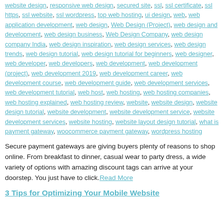website design, responsive web design, secured site, ssl, ssl certificate, ssl https, ssl website, ssl wordpress, top web hosting, ui design, web, web application development, web design, Web Design (Project), web design and development, web design business, Web Design Company, web design company India, web design inspiration, web design services, web design trends, web design tutorial, web design tutorial for beginners, web designer, web developer, web developers, web development, web development (project), web development 2019, web development career, web development course, web development guide, web development services, web development tutorial, web host, web hosting, web hosting companies, web hosting explained, web hosting review, website, website design, website design tutorial, website development, website development service, website development services, website hosting, website layout design tutorial, what is payment gateway, woocommerce payment gateway, wordpress hosting
Secure payment gateways are giving buyers plenty of reasons to shop online. From breakfast to dinner, casual wear to party dress, a wide variety of options with amazing discount tags can arrive at your doorstep. You just have to click. Read More
3 Tips for Optimizing Your Mobile Website